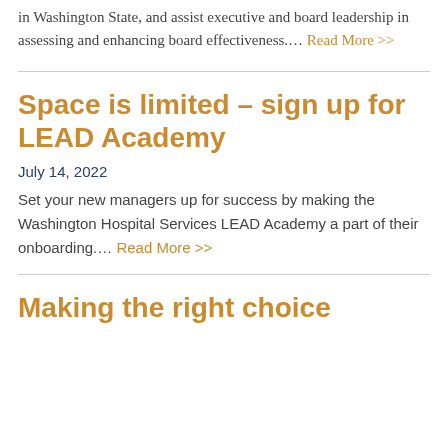in Washington State, and assist executive and board leadership in assessing and enhancing board effectiveness.... Read More >>
Space is limited – sign up for LEAD Academy
July 14, 2022
Set your new managers up for success by making the Washington Hospital Services LEAD Academy a part of their onboarding.... Read More >>
Making the right choice